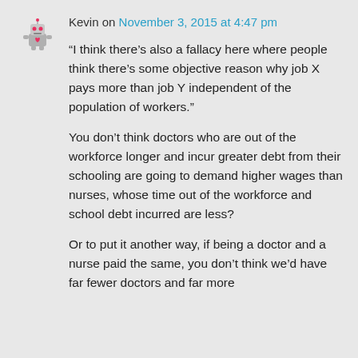Kevin on November 3, 2015 at 4:47 pm
“I think there’s also a fallacy here where people think there’s some objective reason why job X pays more than job Y independent of the population of workers.”
You don’t think doctors who are out of the workforce longer and incur greater debt from their schooling are going to demand higher wages than nurses, whose time out of the workforce and school debt incurred are less?
Or to put it another way, if being a doctor and a nurse paid the same, you don’t think we’d have far fewer doctors and far more